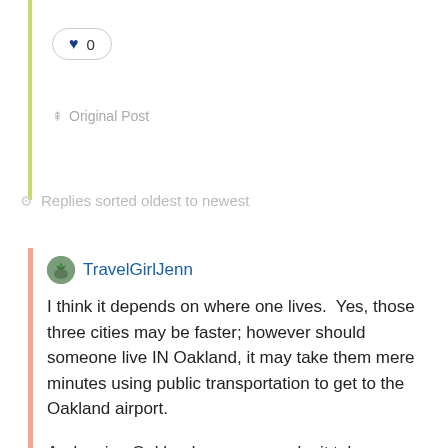[Figure (other): Like button with heart icon showing count 0]
Original Post
Replies sorted oldest to newest
TravelGirlJenn
I think it depends on where one lives.  Yes, those three cities may be faster; however should someone live IN Oakland, it may take them mere minutes using public transportation to get to the Oakland airport.
And, using Oakland as an example, it takes me less time to get to the Oakland airport from my house using public transport than it would if I were to take my car simply because of traffic.